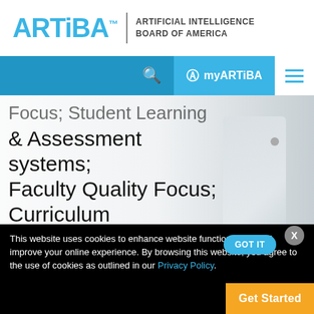[Figure (logo): ARTIBA - Artificial Intelligence Board of America logo with blue text and tagline]
[Figure (screenshot): ARTIBA website navigation bar with search icon, myARTIBA button, and hamburger menu]
Focus; Student Learning & Assessment systems; Faculty Quality Focus; Curriculum management and Education unit/department
This website uses cookies to enhance website functionalities and improve your online experience. By browsing this website, you agree to the use of cookies as outlined in our Privacy Policy.